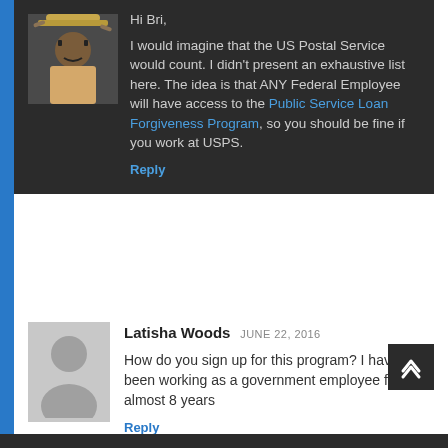Hi Bri, I would imagine that the US Postal Service would count. I didn't present an exhaustive list here. The idea is that ANY Federal Employee will have access to the Public Service Loan Forgiveness Program, so you should be fine if you work at USPS.
Reply
Latisha Woods JUNE 22, 2016 How do you sign up for this program? I have been working as a government employee for almost 8 years
Reply